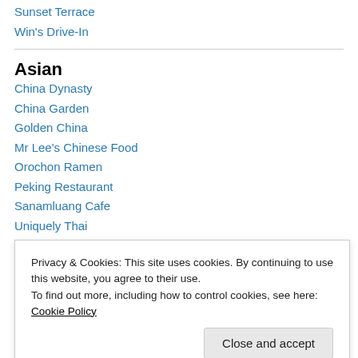Sunset Terrace
Win's Drive-In
Asian
China Dynasty
China Garden
Golden China
Mr Lee's Chinese Food
Orochon Ramen
Peking Restaurant
Sanamluang Cafe
Uniquely Thai
Privacy & Cookies: This site uses cookies. By continuing to use this website, you agree to their use. To find out more, including how to control cookies, see here: Cookie Policy
Elks BBQ